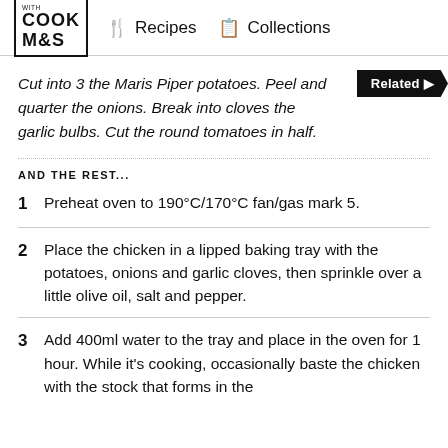COOK WITH M&S   Recipes   Collections
Cut into 3 the Maris Piper potatoes. Peel and quarter the onions. Break into cloves the garlic bulbs. Cut the round tomatoes in half.
AND THE REST...
1  Preheat oven to 190°C/170°C fan/gas mark 5.
2  Place the chicken in a lipped baking tray with the potatoes, onions and garlic cloves, then sprinkle over a little olive oil, salt and pepper.
3  Add 400ml water to the tray and place in the oven for 1 hour. While it's cooking, occasionally baste the chicken with the stock that forms in the tray and remove the vegetables as and...